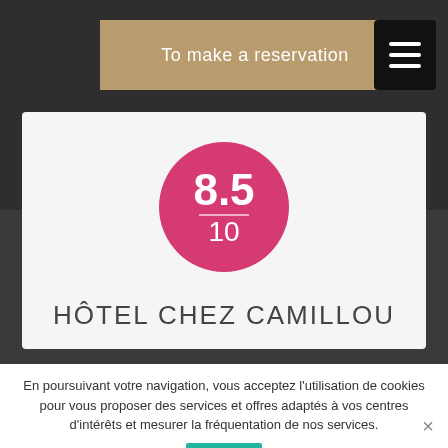To make a reservation
[Figure (infographic): Pink circle with score 8.5 / 10]
HÔTEL CHEZ CAMILLOU
En poursuivant votre navigation, vous acceptez l'utilisation de cookies pour vous proposer des services et offres adaptés à vos centres d'intérêts et mesurer la fréquentation de nos services.
Ok
Meilleur tarif garanti